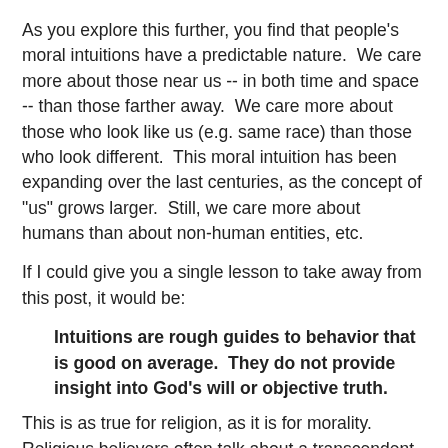As you explore this further, you find that people's moral intuitions have a predictable nature.  We care more about those near us -- in both time and space -- than those farther away.  We care more about those who look like us (e.g. same race) than those who look different.  This moral intuition has been expanding over the last centuries, as the concept of "us" grows larger.  Still, we care more about humans than about non-human entities, etc.
If I could give you a single lesson to take away from this post, it would be:
Intuitions are rough guides to behavior that is good on average.  They do not provide insight into God's will or objective truth.
This is as true for religion, as it is for morality.  Religious believers often talk about a transcendent feeling that they get in certain situations.  A revelation, that they feel they have experienced, but that I don't seem to understand.  But the truth is the reverse: I understand the feeling; I just think it's an error to believe that your introspective feelings are a